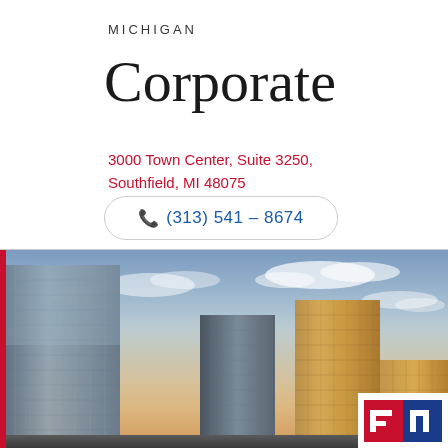MICHIGAN
Corporate
3000 Town Center, Suite 3250,
Southfield, MI 48075
(313) 541 – 8674
[Figure (photo): City skyline with modern glass office towers at dusk/sunset against a partly cloudy sky]
[Figure (logo): Corporate insurance company logo — red white and blue design in bottom right corner]